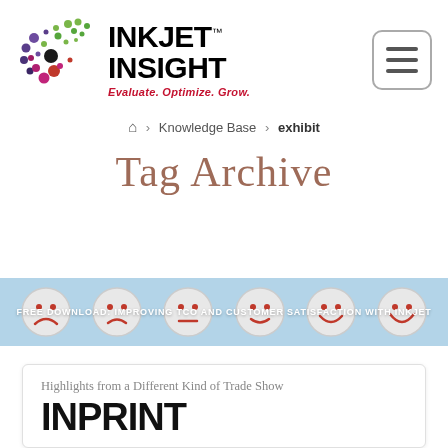[Figure (logo): Inkjet Insight logo with colorful dot pattern and tagline 'Evaluate. Optimize. Grow.']
[Figure (other): Hamburger menu button (three horizontal lines) in a rounded rectangle border]
🏠 > Knowledge Base > exhibit
Tag Archive
[Figure (photo): Banner with smiley face buttons ranging from sad to happy, light blue background, text: FREE DOWNLOAD: IMPROVING TCO AND CUSTOMER SATISFACTION WITH INKJET]
Highlights from a Different Kind of Trade Show
[Figure (other): Large bold text partially visible: INPRINT]